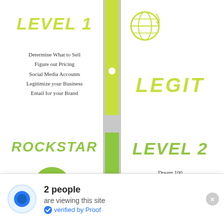LEVEL 1
Determine What to Sell
Figure out Pricing
Social Media Accounts
Legitimize your Business
Email for your Brand
[Figure (illustration): Lime green globe icon with orbit lines]
LEGIT
ROCKSTAR
[Figure (illustration): Green speech bubble / chat icon illustration]
LEVEL 2
Dream 100
Receive 1 YES
Behind the Scenes
First Testimonial
First 1 Giveaway
[Figure (illustration): Teal piggy bank icon with coins]
LEVEL 3
2 people are viewing this site
verified by Proof